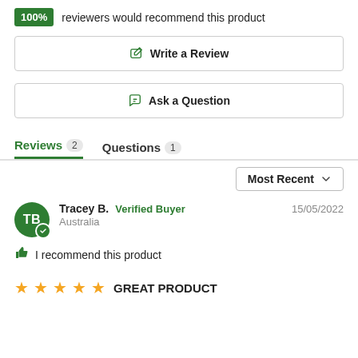100% reviewers would recommend this product
Write a Review
Ask a Question
Reviews 2   Questions 1
Most Recent
Tracey B.  Verified Buyer  15/05/2022  Australia
I recommend this product
GREAT PRODUCT